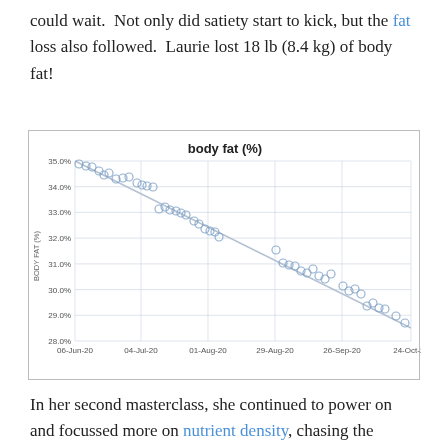could wait.  Not only did satiety start to kick, but the fat loss also followed.  Laurie lost 18 lb (8.4 kg) of body fat!
[Figure (continuous-plot): Scatter plot with trend line showing body fat percentage declining from approximately 35% in early June 2020 to approximately 28.5% in late October 2020. X-axis shows dates from 06-Jun-20 to 24-Oct-20. Y-axis ranges from 28.0% to 35.0%. A light gray trend line shows a steady downward slope. Data points are light blue circles scattered around the trend line.]
In her second masterclass, she continued to power on and focussed more on nutrient density, chasing the